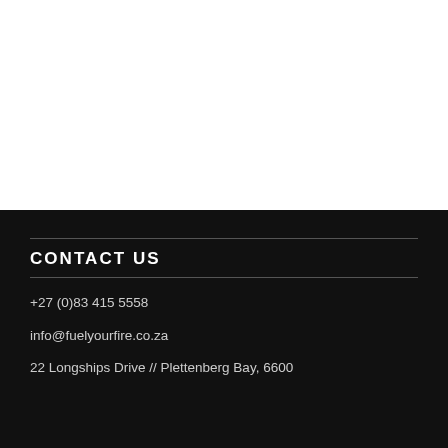CONTACT US
+27 (0)83 415 5558
info@fuelyourfire.co.za
22 Longships Drive // Plettenberg Bay, 6600